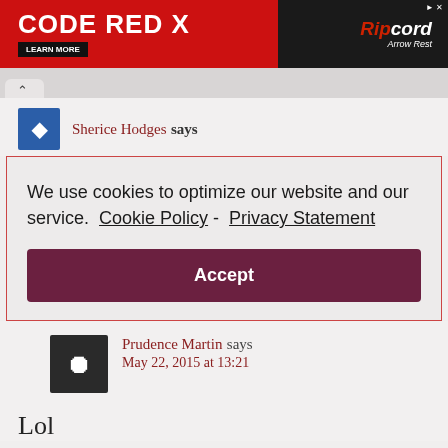[Figure (photo): Advertisement banner for CODE RED X by Ripcord Arrow Rest with a red and black background, showing product image and LEARN MORE button]
Sherice Hodges says
We use cookies to optimize our website and our service.  Cookie Policy -  Privacy Statement
Accept
Prudence Martin says
May 22, 2015 at 13:21
Lol